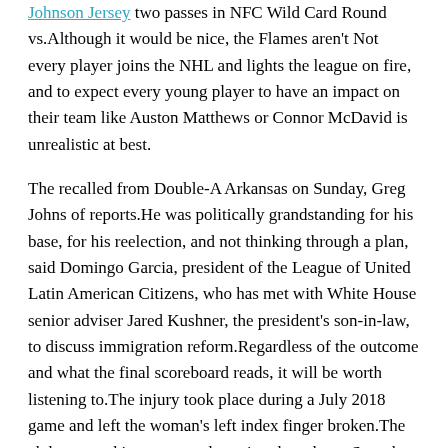Johnson Jersey two passes in NFC Wild Card Round vs.Although it would be nice, the Flames aren't Not every player joins the NHL and lights the league on fire, and to expect every young player to have an impact on their team like Auston Matthews or Connor McDavid is unrealistic at best.
The recalled from Double-A Arkansas on Sunday, Greg Johns of reports.He was politically grandstanding for his base, for his reelection, and not thinking through a plan, said Domingo Garcia, president of the League of United Latin American Citizens, who has met with White House senior adviser Jared Kushner, the president's son-in-law, to discuss immigration reform.Regardless of the outcome and what the final scoreboard reads, it will be worth listening to.The injury took place during a July 2018 game and left the woman's left index finger broken.The club snapped its worst goal-scoring drought on Saturday, finding the back of the net for the first time since Sept.
Pascal Siakam and O.G.Overall, Montas is 6 with a 2 ERA, 1 WHIP and 61 strikeouts in 60 innings this season.If he progresses through his rehab without any setbacks, Bishop could be back in action near the end